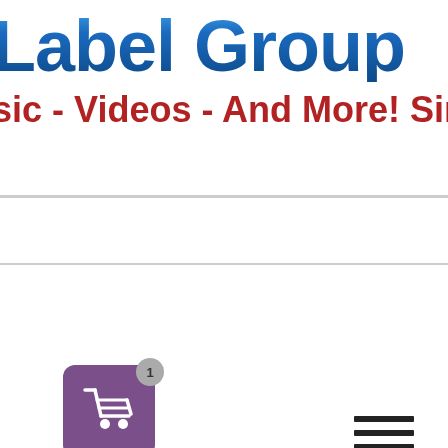Label Group
sic - Videos - And More! Since
[Figure (screenshot): Hamburger menu icon with three horizontal lines]
[Figure (photo): Album cover showing a smiling man with dark curly hair and sunglasses, with text 'Goin' Back To Me...' on the right side, overlaid with a purple shopping cart badge showing count 1]